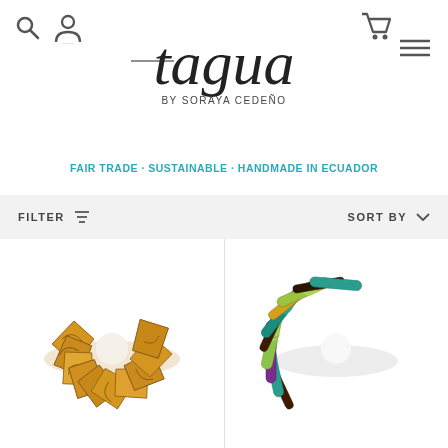tagua by Soraya Cedeño — FAIR TRADE · SUSTAINABLE · HANDMADE IN ECUADOR
FILTER  SORT BY
[Figure (photo): Tan/caramel colored tagua nut bracelet with black floral engravings, wide stretch band made of chevron-shaped tagua slices]
[Figure (photo): Colorful tagua nut bracelet with multicolor slices in teal, purple, green, and gold tones arranged in vertical strips]